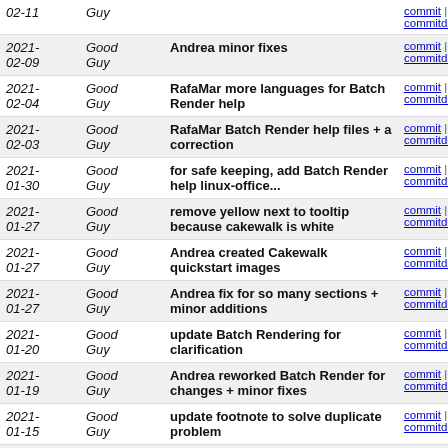| Date | Author | Message | Links |
| --- | --- | --- | --- |
| 2021-02-11 | Good Guy |  | commit | commitdiff | tree |
| 2021-02-09 | Good Guy | Andrea minor fixes | commit | commitdiff | tree |
| 2021-02-04 | Good Guy | RafaMar more languages for Batch Render help | commit | commitdiff | tree |
| 2021-02-03 | Good Guy | RafaMar Batch Render help files + a correction | commit | commitdiff | tree |
| 2021-01-30 | Good Guy | for safe keeping, add Batch Render help linux-office... | commit | commitdiff | tree |
| 2021-01-27 | Good Guy | remove yellow next to tooltip because cakewalk is white | commit | commitdiff | tree |
| 2021-01-27 | Good Guy | Andrea created Cakewalk quickstart images | commit | commitdiff | tree |
| 2021-01-27 | Good Guy | Andrea fix for so many sections + minor additions | commit | commitdiff | tree |
| 2021-01-20 | Good Guy | update Batch Rendering for clarification | commit | commitdiff | tree |
| 2021-01-19 | Good Guy | Andrea reworked Batch Render for changes + minor fixes | commit | commitdiff | tree |
| 2021-01-15 | Good Guy | update footnote to solve duplicate problem | commit | commitdiff | tree |
| 2021-01-14 | Good Guy | Andrea (fary54) update + minor fixes | commit | commitdiff | tree |
| 2021-01-09 | Good Guy | switch from textbf to color of CinBlueText because... | commit | commitdiff | tree |
| 2021-01-07 | Good Guy | remove leftover jpg file | commit | commitdiff | tree |